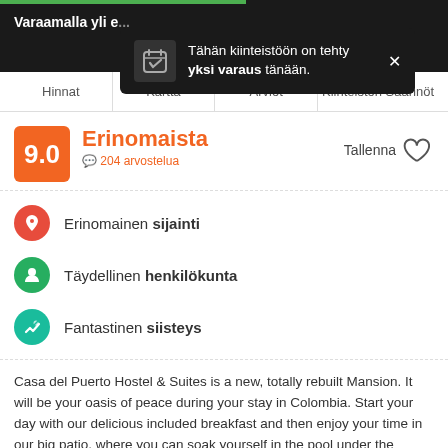Varaamalla yli ...
Tähän kiinteistöön on tehty yksi varaus tänään.
Hinnat | Kartta | Arviot | Kiinteistön Säännöt
Erinomaista
204 arvostelua
Erinomainen sijainti
Täydellinen henkilökunta
Fantastinen siisteys
Casa del Puerto Hostel & Suites is a new, totally rebuilt Mansion. It will be your oasis of peace during your stay in Colombia. Start your day with our delicious included breakfast and then enjoy your time in our big patio, where you can soak yourself in the pool under the Colombian sun, have a fresh cocktail, have a bite in our restaurant.... or just chill.